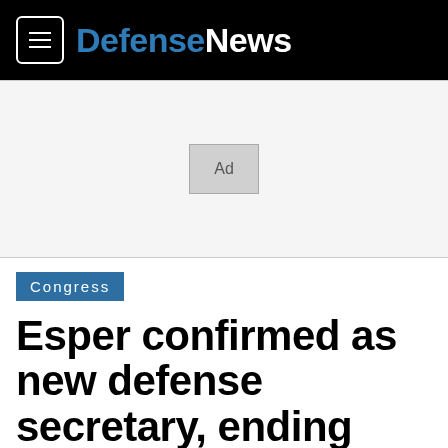DefenseNews
[Figure (other): Advertisement placeholder box labeled 'Ad']
Congress
Esper confirmed as new defense secretary, ending Pentagon leadership uncertainty